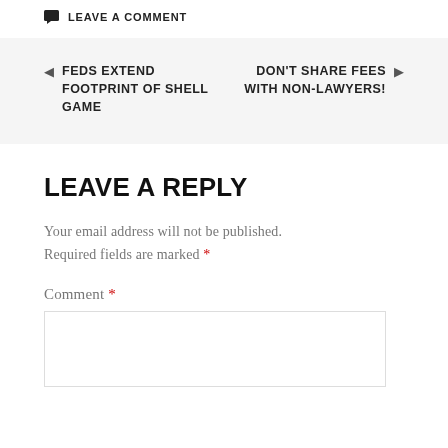LEAVE A COMMENT
FEDS EXTEND FOOTPRINT OF SHELL GAME
DON'T SHARE FEES WITH NON-LAWYERS!
LEAVE A REPLY
Your email address will not be published. Required fields are marked *
Comment *